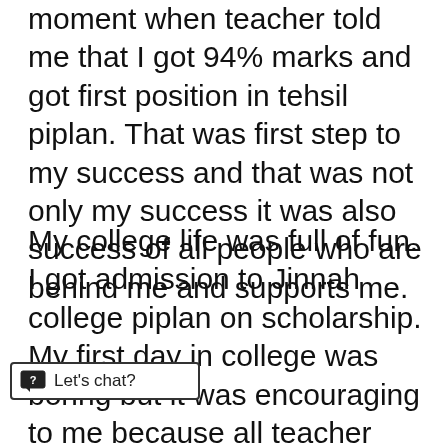moment when teacher told me that I got 94% marks and got first position in tehsil piplan. That was first step to my success and that was not only my success it was also success of all people who are behind me and supports me.
My college life was full of fun. I got admission to Jinnah college piplan on scholarship. My first day in college was boring but it was encouraging to me because all teacher appreciated my performance in school reports. During this cycle of my life I got relaxed and I could remember those days when I with my friend enjoy food. And I remember that I started Pakistani Dramas. Although Dramas are source of fun I also learnt a lot from it.